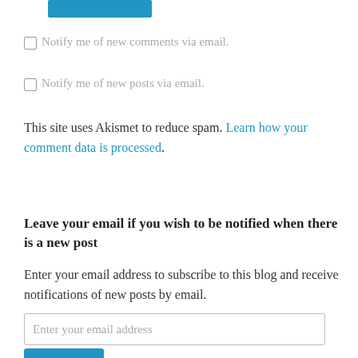[Figure (other): Blue button at the top, partially cropped]
Notify me of new comments via email.
Notify me of new posts via email.
This site uses Akismet to reduce spam. Learn how your comment data is processed.
Leave your email if you wish to be notified when there is a new post
Enter your email address to subscribe to this blog and receive notifications of new posts by email.
Enter your email address
[Figure (other): Blue Subscribe button, partially cropped at bottom]